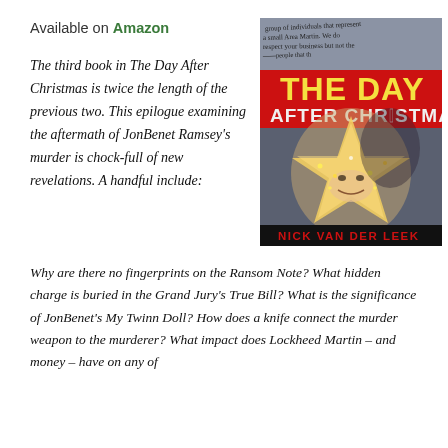Available on Amazon
[Figure (illustration): Book cover for 'The Day After Christmas' by Nick Van Der Leek. Features a child's smiling face overlaid with a glowing star shape, handwritten text at top, red banner with 'THE DAY AFTER CHRISTMAS' title, author name at bottom.]
The third book in The Day After Christmas is twice the length of the previous two. This epilogue examining the aftermath of JonBenet Ramsey's murder is chock-full of new revelations. A handful include:
Why are there no fingerprints on the Ransom Note? What hidden charge is buried in the Grand Jury's True Bill? What is the significance of JonBenet's My Twinn Doll? How does a knife connect the murder weapon to the murderer? What impact does Lockheed Martin – and money – have on any of